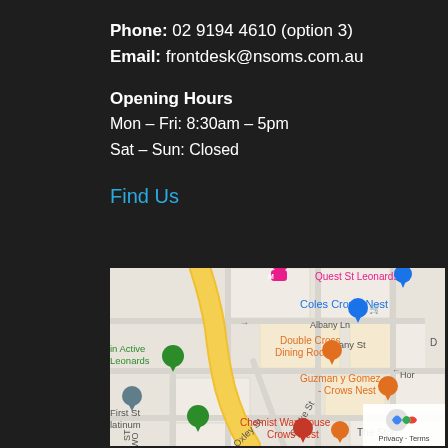Phone: 02 9194 4610 (option 3)
Email: frontdesk@nsoms.com.au
Opening Hours
Mon – Fri: 8:30am – 5pm
Sat – Sun: Closed
Find Us
[Figure (map): Google Maps screenshot showing Crows Nest / St Leonards area in Sydney, Australia. Shows streets including Albany St, Clarke St, Oxley St, and landmarks including Quest St Leonards, Coles Crows Nest, Double Cross Dining Room, Guzman y Gomez - Crows Nest, Chemist Warehouse Crows Nest, The Stone. A yellow road curves through the map. Privacy/Terms button visible in bottom-right corner.]